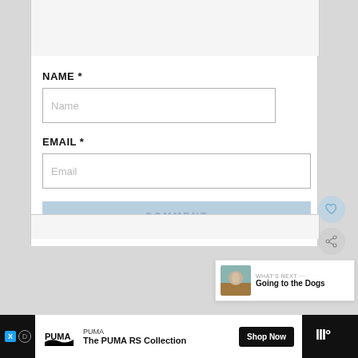[Figure (screenshot): Web page comment form with NAME and EMAIL fields and a COMMENT submit button, plus a PUMA advertisement banner at the bottom]
NAME *
Name
EMAIL *
Email
COMMENT
WHAT'S NEXT ... Going to the Dogs
[Figure (screenshot): PUMA advertisement banner: The PUMA RS Collection, Shop Now button, Tidal logo]
PUMA
The PUMA RS Collection
Shop Now